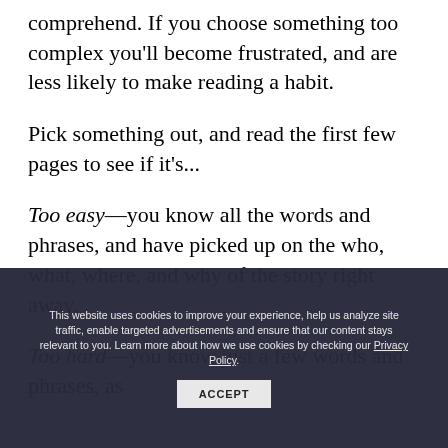comprehend. If you choose something too complex you'll become frustrated, and are less likely to make reading a habit.
Pick something out, and read the first few pages to see if it's...
Too easy—you know all the words and phrases, and have picked up on the who, what, where, and why of the story right away.
Too hard—you know just a few words and phrases, as
This website uses cookies to improve your experience, help us analyze site traffic, enable targeted advertisements and ensure that our content stays relevant to you. Learn more about how we use cookies by checking our Privacy Policy. ACCEPT